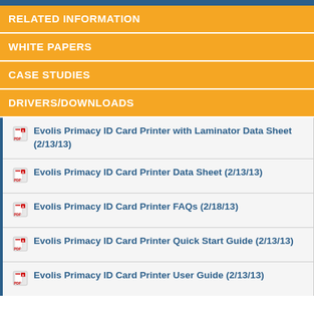RELATED INFORMATION
WHITE PAPERS
CASE STUDIES
DRIVERS/DOWNLOADS
Evolis Primacy ID Card Printer with Laminator Data Sheet (2/13/13)
Evolis Primacy ID Card Printer Data Sheet (2/13/13)
Evolis Primacy ID Card Printer FAQs (2/18/13)
Evolis Primacy ID Card Printer Quick Start Guide (2/13/13)
Evolis Primacy ID Card Printer User Guide (2/13/13)